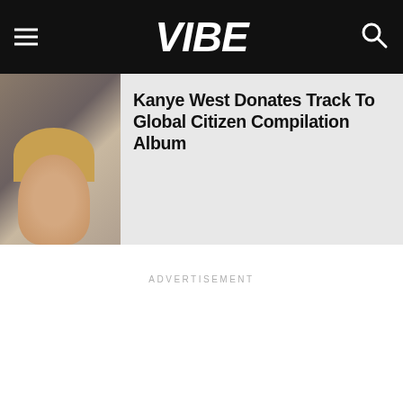VIBE
Kanye West Donates Track To Global Citizen Compilation Album
ADVERTISEMENT